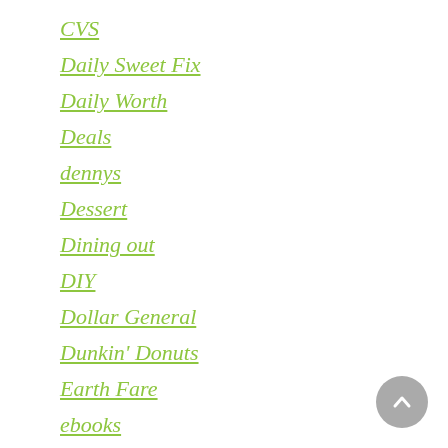CVS
Daily Sweet Fix
Daily Worth
Deals
dennys
Dessert
Dining out
DIY
Dollar General
Dunkin' Donuts
Earth Fare
ebooks
Elle Belle